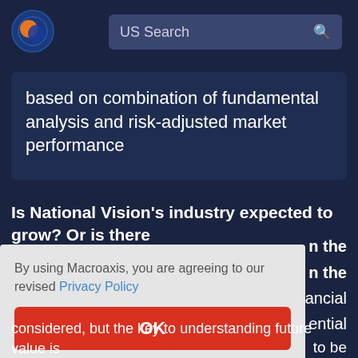Macroaxis — US Search
based on combination of fundamental analysis and risk-adjusted market performance
Is National Vision's industry expected to grow? Or is there
By using Macroaxis, you are agreeing to our revised Privacy Policy
OK
considered, but the key to understanding future value is